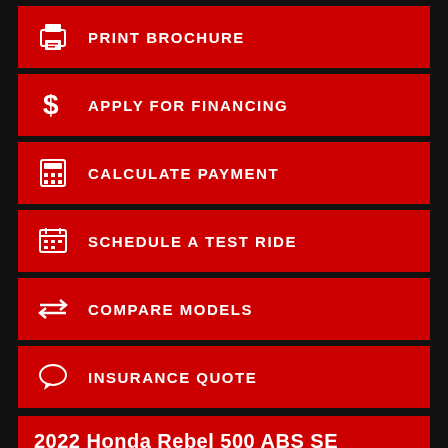PRINT BROCHURE
APPLY FOR FINANCING
CALCULATE PAYMENT
SCHEDULE A TEST RIDE
COMPARE MODELS
INSURANCE QUOTE
2022 Honda Rebel 500 ABS SE
Share:
| Condition |  |
| --- | --- |
| Condition | New |